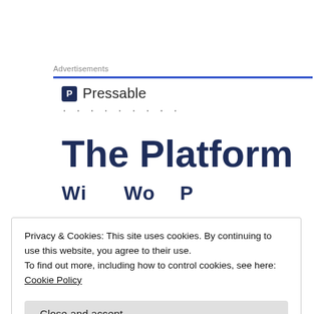Advertisements
[Figure (logo): Pressable logo with shield icon and name 'Pressable', followed by dotted line]
The Platform
Privacy & Cookies: This site uses cookies. By continuing to use this website, you agree to their use.
To find out more, including how to control cookies, see here: Cookie Policy
Close and accept